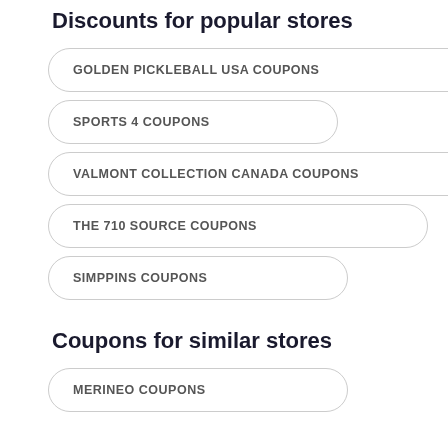Discounts for popular stores
GOLDEN PICKLEBALL USA COUPONS
SPORTS 4 COUPONS
VALMONT COLLECTION CANADA COUPONS
THE 710 SOURCE COUPONS
SIMPPINS COUPONS
Coupons for similar stores
MERINEO COUPONS